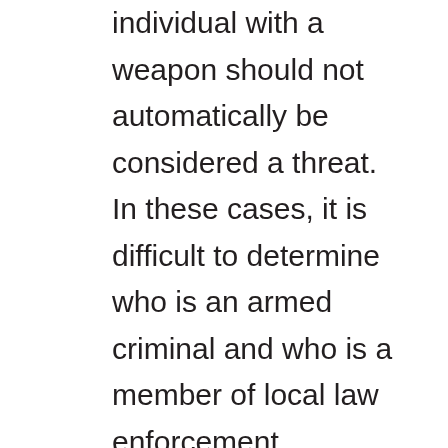individual with a weapon should not automatically be considered a threat. In these cases, it is difficult to determine who is an armed criminal and who is a member of local law enforcement. Additionally, in contemporary low-intensity conflicts, the frontlines of the battlefield are constantly shifting and often indistinguishable, blurring the lines between the combatants and noncombatants. In urban settings, military firepower (such as artillery, mortars, heavy weapons, and air support) presents serious risk to the civilian population, and its use might be restricted by military leaders, elevating the danger for security forces. For these reasons, contemporary security operations require a mix of